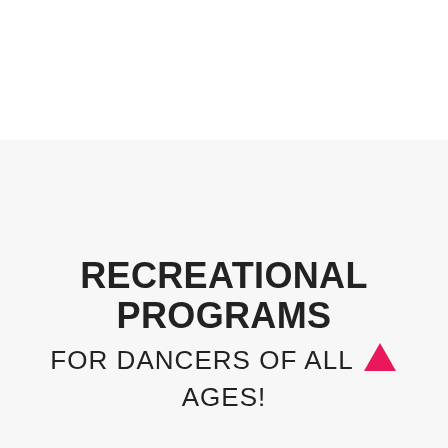RECREATIONAL PROGRAMS FOR DANCERS OF ALL AGES!